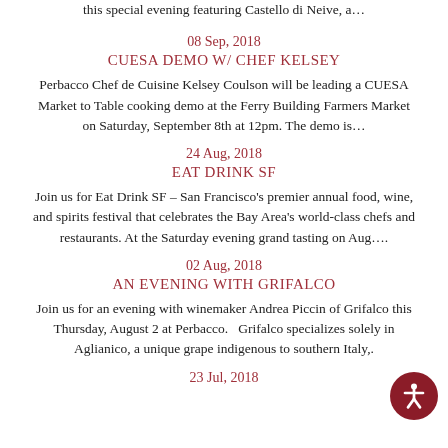this special evening featuring Castello di Neive, a…
08 Sep, 2018
CUESA DEMO W/ CHEF KELSEY
Perbacco Chef de Cuisine Kelsey Coulson will be leading a CUESA Market to Table cooking demo at the Ferry Building Farmers Market on Saturday, September 8th at 12pm. The demo is…
24 Aug, 2018
EAT DRINK SF
Join us for Eat Drink SF – San Francisco's premier annual food, wine, and spirits festival that celebrates the Bay Area's world-class chefs and restaurants. At the Saturday evening grand tasting on Aug….
02 Aug, 2018
AN EVENING WITH GRIFALCO
Join us for an evening with winemaker Andrea Piccin of Grifalco this Thursday, August 2 at Perbacco.   Grifalco specializes solely in Aglianico, a unique grape indigenous to southern Italy,.
23 Jul, 2018